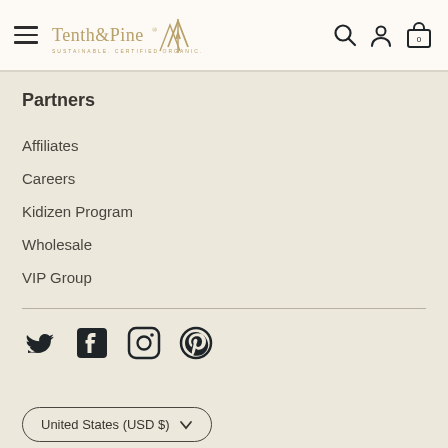Tenth & Pine — SUSTAINABLE. CERTIFIED ORGANIC. USA MADE.
Partners
Affiliates
Careers
Kidizen Program
Wholesale
VIP Group
[Figure (infographic): Social media icons: Twitter, Facebook, Instagram, Pinterest]
United States (USD $)